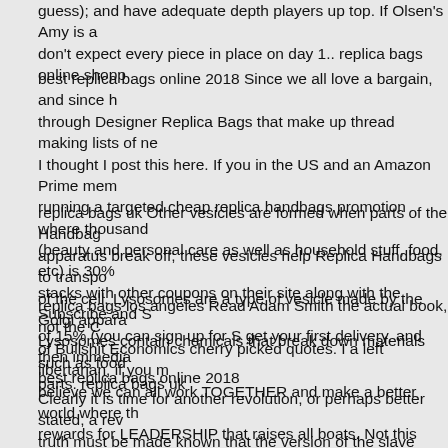guess); and have adequate depth players up top. If Olsen's Amy is a don't expect every piece in place on day 1.. replica bags online shopp
best replica bags online 2018 Since we all love a bargain, and since h through Designer Replica Bags that make up thread making lists of ne I thought I post this here. If you in the US and an Amazon Prime mem running a targeted cheap replica handbags promotion where thousand (beauty and personal care as well as household stuff, food, etc) is 30% stacks with other coupons on their site along with the Subscribe and S of 15% (you can sign up for S get your first delivery, and then immedia best replica bags online 2018
replica bags uk Other vesicles are formed when parts of the Handbag apparatus break off; these vesicles help Replica Handbags to transpo of the cell. Lysosomes are a type of vesicle made by the Golgi appara Lysosomes contain chemicals that break down materials such as food parts. replica bags uk
replica bags los angeles Read Adam Smith the actual book, not the C of Bullshit Economics cherry picked quotes. I a left libertarian, if you m believe we can all work TOGETHER and make a better world where th rewards for LEADERSHIP that raises all boats. Not this bullshit where off when you get a tax break. replica bags los angeles
Clearly it is time for another revolution, or perhaps better stated, a rev truth must be made known that the version of the slave trade as it has remembered is wrong; slavery was not a just black struggle, it was a h White people as well Replica Bags and the remembered history is b